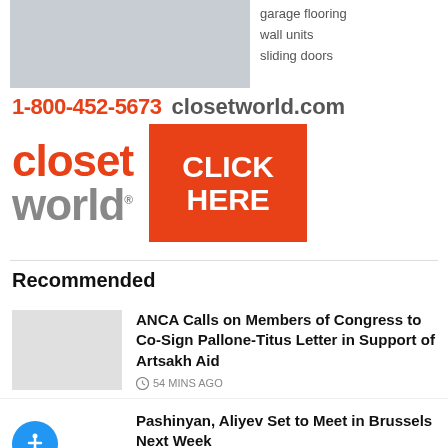[Figure (photo): Closet World advertisement banner showing organized closet shelving, with text listing 'garage flooring, wall units, sliding doors', phone number '1-800-452-5673', website 'closetworld.com', logo, and a red CLICK HERE button]
Recommended
ANCA Calls on Members of Congress to Co-Sign Pallone-Titus Letter in Support of Artsakh Aid — 54 MINS AGO
Pashinyan, Aliyev Set to Meet in Brussels Next Week — 4 HOURS AGO